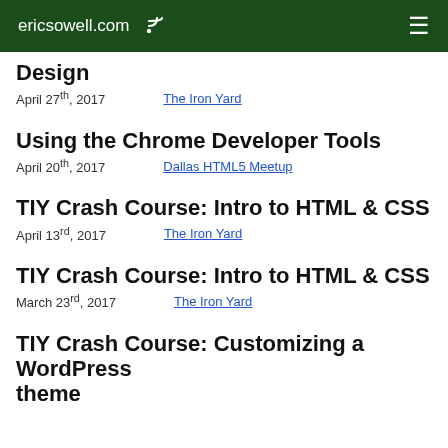ericsowell.com [rss] [menu]
Design
April 27th, 2017   The Iron Yard
Using the Chrome Developer Tools
April 20th, 2017   Dallas HTML5 Meetup
TIY Crash Course: Intro to HTML & CSS
April 13th, 2017   The Iron Yard
TIY Crash Course: Intro to HTML & CSS
March 23rd, 2017   The Iron Yard
TIY Crash Course: Customizing a WordPress theme